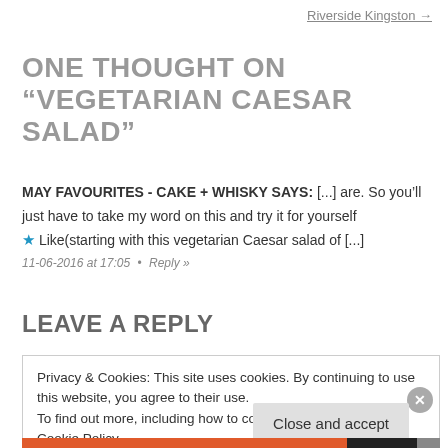Riverside Kingston →
ONE THOUGHT ON “VEGETARIAN CAESAR SALAD”
MAY FAVOURITES - CAKE + WHISKY SAYS: [...] are. So you’ll just have to take my word on this and try it for yourself ★ Like(starting with this vegetarian Caesar salad of [...]
11-06-2016 at 17:05  •  Reply »
LEAVE A REPLY
Privacy & Cookies: This site uses cookies. By continuing to use this website, you agree to their use.
To find out more, including how to control cookies, see here: Cookie Policy